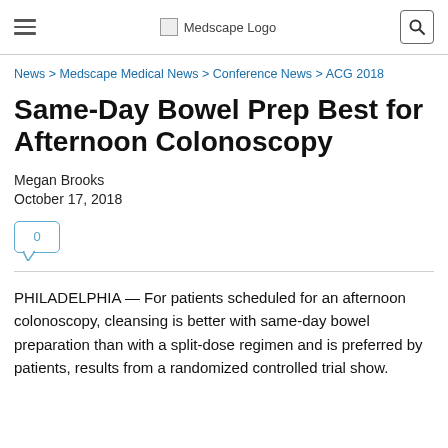Medscape Logo
News > Medscape Medical News > Conference News > ACG 2018
Same-Day Bowel Prep Best for Afternoon Colonoscopy
Megan Brooks
October 17, 2018
[Figure (other): Comment count bubble icon showing 0 comments]
PHILADELPHIA — For patients scheduled for an afternoon colonoscopy, cleansing is better with same-day bowel preparation than with a split-dose regimen and is preferred by patients, results from a randomized controlled trial show.